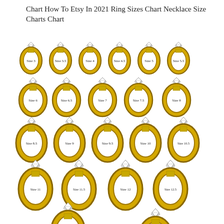Chart How To Etsy In 2021 Ring Sizes Chart Necklace Size Charts Chart
[Figure (illustration): Grid of ring illustrations showing sizes from 3 to 13, each ring depicted as a gold solitaire engagement ring with diamond, labeled with the size inside the band. Rows: Row1: Size 3, 3.5, 4, 4.5, 5, 5.5; Row2: Size 6, 6.5, 7, 7.5, 8; Row3: Size 8.5, 9, 9.5, 10, 10.5; Row4: Size 11, 11.5, 12, 12.5; Row5: partial - Size 13 and one more partially visible]